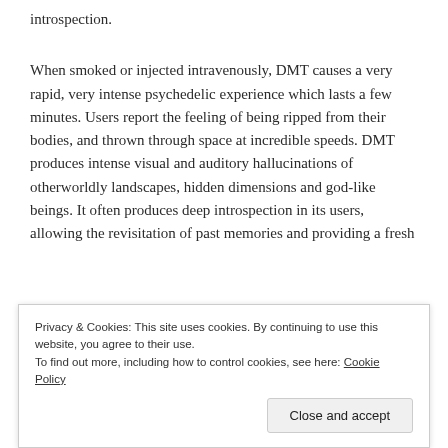introspection.
When smoked or injected intravenously, DMT causes a very rapid, very intense psychedelic experience which lasts a few minutes. Users report the feeling of being ripped from their bodies, and thrown through space at incredible speeds. DMT produces intense visual and auditory hallucinations of otherworldly landscapes, hidden dimensions and god-like beings. It often produces deep introspection in its users, allowing the revisitation of past memories and providing a fresh
Privacy & Cookies: This site uses cookies. By continuing to use this website, you agree to their use.
To find out more, including how to control cookies, see here: Cookie Policy
Close and accept